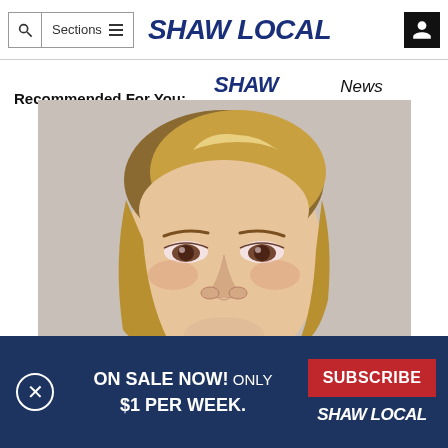Shaw Local — search, sections nav, user icon
Recommended For You:   SHAW LOCAL News Network
[Figure (photo): Close-up mugshot or headshot of a blonde woman against a grey background]
ON SALE NOW! ONLY $1 PER WEEK.
SUBSCRIBE
SHAW LOCAL